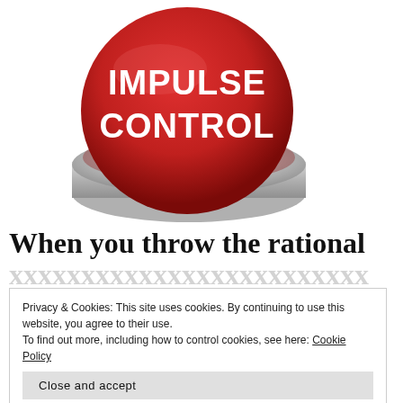[Figure (illustration): A large red button with white bold text reading 'IMPULSE CONTROL' on a silver/grey cylindrical base, photographed on white background.]
When you throw the rational
Privacy & Cookies: This site uses cookies. By continuing to use this website, you agree to their use.
To find out more, including how to control cookies, see here: Cookie Policy
ON JULY 29, 2016 / BY CHARMAINE WRITES